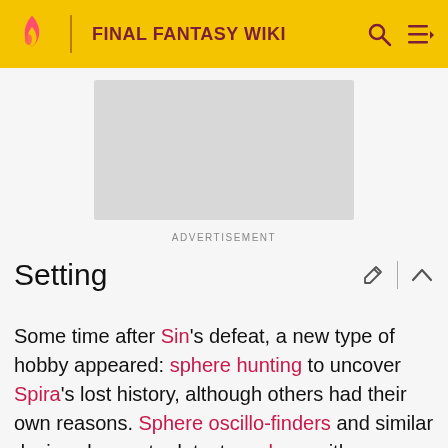FINAL FANTASY WIKI
[Figure (other): Advertisement placeholder (gray rectangle)]
ADVERTISEMENT
Setting
Some time after Sin's defeat, a new type of hobby appeared: sphere hunting to uncover Spira's lost history, although others had their own reasons. Sphere oscillo-finders and similar devices began to detect a sphere with particular properties, since then dubbed an "awesome sphere," in the vicinity of Kilika Island. This sparked theories that the sphere may hold important information, and Youth League decided to acquire it, but was halted by New Yevon who opposes revealing the contents of the